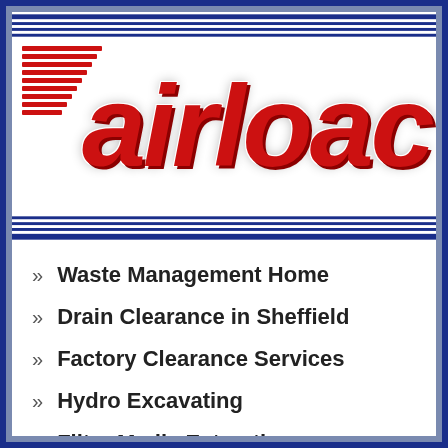[Figure (logo): Airload company logo with red italic bold text 'airload' on white background with red horizontal lines on the left and blue border lines at top and bottom]
Waste Management Home
Drain Clearance in Sheffield
Factory Clearance Services
Hydro Excavating
Filter Media Extraction
Mine Services
Confined Space Entry
Conveyor System Cleaning